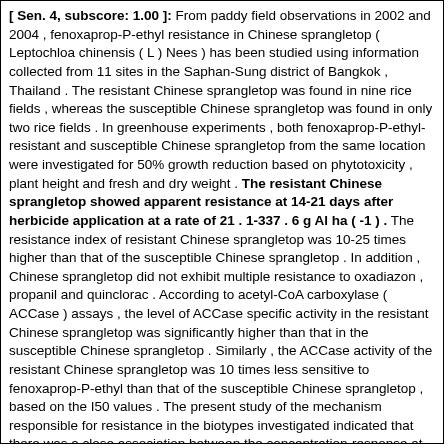[ Sen. 4, subscore: 1.00 ]: From paddy field observations in 2002 and 2004 , fenoxaprop-P-ethyl resistance in Chinese sprangletop ( Leptochloa chinensis ( L ) Nees ) has been studied using information collected from 11 sites in the Saphan-Sung district of Bangkok , Thailand . The resistant Chinese sprangletop was found in nine rice fields , whereas the susceptible Chinese sprangletop was found in only two rice fields . In greenhouse experiments , both fenoxaprop-P-ethyl-resistant and susceptible Chinese sprangletop from the same location were investigated for 50% growth reduction based on phytotoxicity , plant height and fresh and dry weight . The resistant Chinese sprangletop showed apparent resistance at 14-21 days after herbicide application at a rate of 21 . 1-337 . 6 g Al ha ( -1 ) . The resistance index of resistant Chinese sprangletop was 10-25 times higher than that of the susceptible Chinese sprangletop . In addition , Chinese sprangletop did not exhibit multiple resistance to oxadiazon , propanil and quinclorac . According to acetyl-CoA carboxylase ( ACCase ) assays , the level of ACCase specific activity in the resistant Chinese sprangletop was significantly higher than that in the susceptible Chinese sprangletop . Similarly , the ACCase activity of the resistant Chinese sprangletop was 10 times less sensitive to fenoxaprop-P-ethyl than that of the susceptible Chinese sprangletop , based on the I50 values . The present study of the mechanism responsible for resistance in the biotypes investigated indicated that there was a close association between the concentration-response at the whole-plant level and ACCase sensitivity to fenoxaprop-P-ethyl , and resistance to fenoxaprop-P-ethyl was conferred by a modified ACCase at the target site , as suggested by higher specific activity and less sensitivity to the herbicide . [ Sen. 6, subscore: 1.00 ]: From paddy field observations in 2002 and 2004 , fenoxaprop-P-ethyl resistance in Chinese sprangletop ( Leptochloa chinensis ( L ) Nees ) has been studied using information